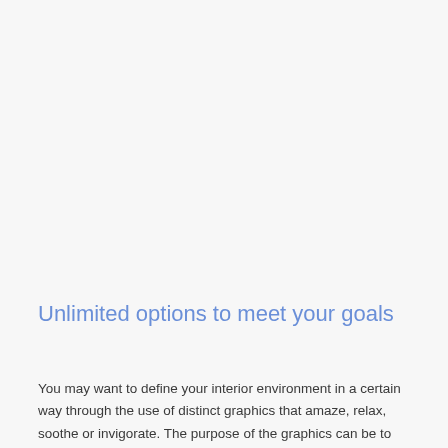Unlimited options to meet your goals
You may want to define your interior environment in a certain way through the use of distinct graphics that amaze, relax, soothe or invigorate. The purpose of the graphics can be to create visual